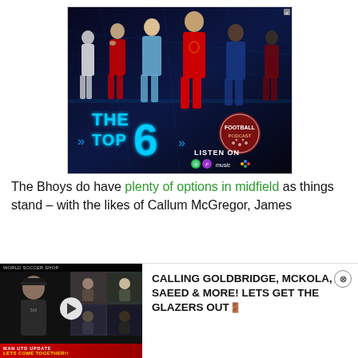[Figure (photo): Advertisement banner for 'The Top 6' football podcast featuring Premier League players (including Ronaldo, De Bruyne, Salah, Lukaku) in their club kits against a dark blue background. Shows 'THE TOP 6' text in neon blue with streaming platform icons (Spotify, Apple Podcasts, Amazon Music) and 'LISTEN ON' text. Has a circular football podcast logo on the right.]
The Bhoys do have plenty of options in midfield as things stand – with the likes of Callum McGregor, James
[Figure (screenshot): Video thumbnail for a Man Utd Update video titled 'CALLING GOLDBRIDGE, MCKOLA, SAEED & MORE! LETS GET THE GLAZERS OUT!' showing a man in a black cap on the left, a grid of video call participants, and a play button overlay. Footer shows 'MAN UTD UPDATE' and 'LETS COME TOGETHER!!' in red/yellow.]